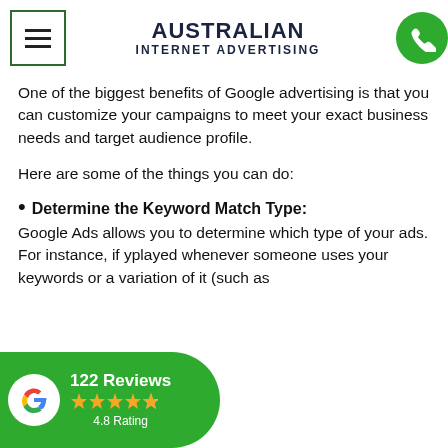AUSTRALIAN INTERNET ADVERTISING
One of the biggest benefits of Google advertising is that you can customize your campaigns to meet your exact business needs and target audience profile.
Here are some of the things you can do:
Determine the Keyword Match Type: Google Ads allows you to determine which type of your ads. For instance, if y...played whenever someone uses your keywords or a variation of it (such as
[Figure (infographic): Google Reviews badge showing 122 Reviews, 4.8 Rating with star icons on a green pill-shaped background with Google G logo]